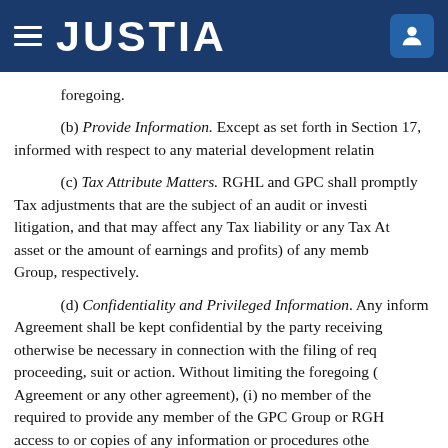JUSTIA
foregoing.
(b) Provide Information. Except as set forth in Section 17, informed with respect to any material development relatin
(c) Tax Attribute Matters. RGHL and GPC shall promptly Tax adjustments that are the subject of an audit or investi litigation, and that may affect any Tax liability or any Tax At asset or the amount of earnings and profits) of any memb Group, respectively.
(d) Confidentiality and Privileged Information. Any inform Agreement shall be kept confidential by the party receiving otherwise be necessary in connection with the filing of req proceeding, suit or action. Without limiting the foregoing ( Agreement or any other agreement), (i) no member of the required to provide any member of the GPC Group or RGH access to or copies of any information or procedures othe solely to GPC, the business or assets of any member of the